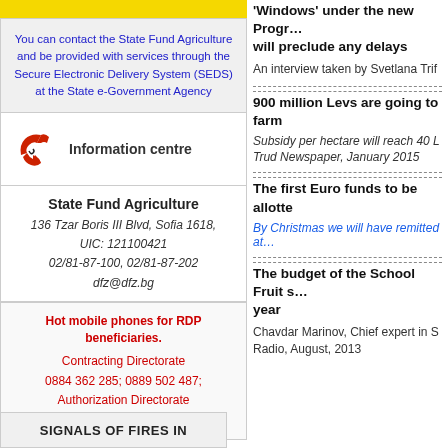You can contact the State Fund Agriculture and be provided with services through the Secure Electronic Delivery System (SEDS) at the State e-Government Agency
[Figure (infographic): Red telephone icon next to 'Information centre' text]
State Fund Agriculture
136 Tzar Boris III Blvd, Sofia 1618,
UIC: 121100421
02/81-87-100, 02/81-87-202
dfz@dfz.bg
Hot mobile phones for RDP beneficiaries.
Contracting Directorate
0884 362 285; 0889 502 487;
Authorization Directorate
0889 922 624; 0889 502 906
SIGNALS OF FIRES IN
Windows under the new Programme will preclude any delays
An interview taken by Svetlana Trif
900 million Levs are going to farm
Subsidy per hectare will reach 40 L
Trud Newspaper, January 2015
The first Euro funds to be allotte
By Christmas we will have remitted at
The budget of the School Fruit scheme year
Chavdar Marinov, Chief expert in S Radio, August, 2013